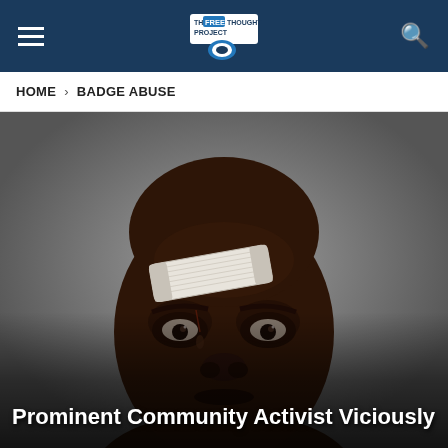THE FREE THOUGHT PROJECT
HOME > BADGE ABUSE
[Figure (photo): Close-up mugshot-style photo of a man with dark skin, bruised and swollen face, with a white bandage/gauze taped to his forehead. He is looking directly at the camera.]
Prominent Community Activist Viciously